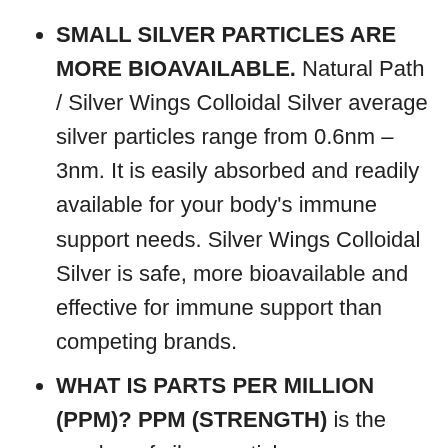SMALL SILVER PARTICLES ARE MORE BIOAVAILABLE. Natural Path / Silver Wings Colloidal Silver average silver particles range from 0.6nm – 3nm. It is easily absorbed and readily available for your body's immune support needs. Silver Wings Colloidal Silver is safe, more bioavailable and effective for immune support than competing brands.
WHAT IS PARTS PER MILLION (PPM)? PPM (STRENGTH) is the number of silver particles per